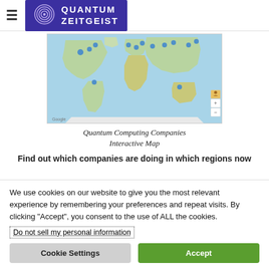QUANTUM ZEITGEIST
[Figure (map): Google Maps interactive world map showing quantum computing company locations marked with blue pins across North America, Europe, and Asia.]
Quantum Computing Companies Interactive Map
Find out which companies are doing in which regions now
We use cookies on our website to give you the most relevant experience by remembering your preferences and repeat visits. By clicking “Accept”, you consent to the use of ALL the cookies.
Do not sell my personal information